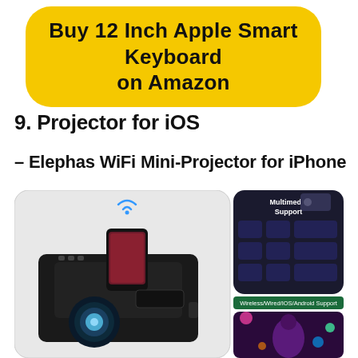[Figure (other): Yellow rounded rectangle button with bold text 'Buy 12 Inch Apple Smart Keyboard on Amazon']
9. Projector for iOS
– Elephas WiFi Mini-Projector for iPhone
[Figure (photo): Product photo of Elephas WiFi Mini-Projector for iPhone showing a black compact projector with a smartphone docked on top displaying a movie scene, WiFi signal icon above. On the right side: a collage showing Multimedia Support grid of device icons, and a Wireless/Wired/IOS/Android Support label above an image of a person at a concert.]